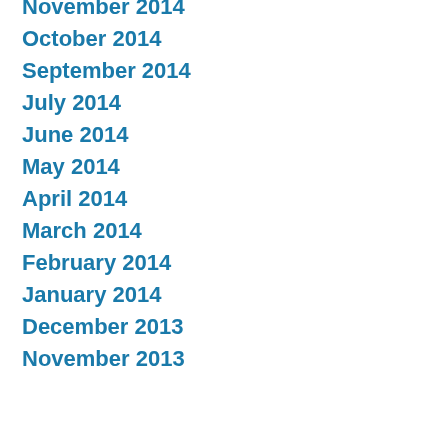November 2014
October 2014
September 2014
July 2014
June 2014
May 2014
April 2014
March 2014
February 2014
January 2014
December 2013
November 2013